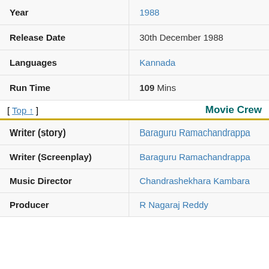| Field | Value |
| --- | --- |
| Year | 1988 |
| Release Date | 30th December 1988 |
| Languages | Kannada |
| Run Time | 109 Mins |
[ Top ↑ ]
Movie Crew
| Role | Name |
| --- | --- |
| Writer (story) | Baraguru Ramachandrappa |
| Writer (Screenplay) | Baraguru Ramachandrappa |
| Music Director | Chandrashekhara Kambara |
| Producer | R Nagaraj Reddy |